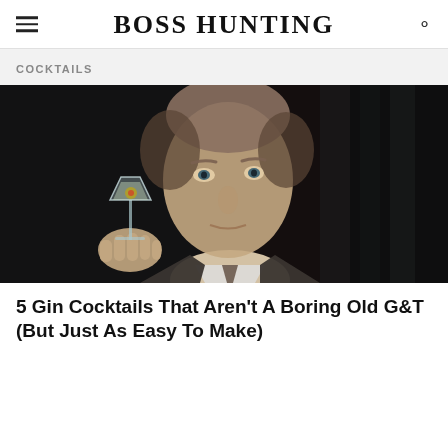BOSS HUNTING
COCKTAILS
[Figure (photo): A man in a suit and tie holding a martini glass with an olive, looking directly at the camera against a dark background. Resembles James Bond character.]
5 Gin Cocktails That Aren't A Boring Old G&T (But Just As Easy To Make)